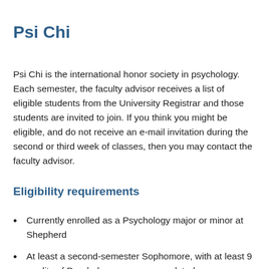Psi Chi
Psi Chi is the international honor society in psychology. Each semester, the faculty advisor receives a list of eligible students from the University Registrar and those students are invited to join. If you think you might be eligible, and do not receive an e-mail invitation during the second or third week of classes, then you may contact the faculty advisor.
Eligibility requirements
Currently enrolled as a Psychology major or minor at Shepherd
At least a second-semester Sophomore, with at least 9 credits of Psychology courses completed